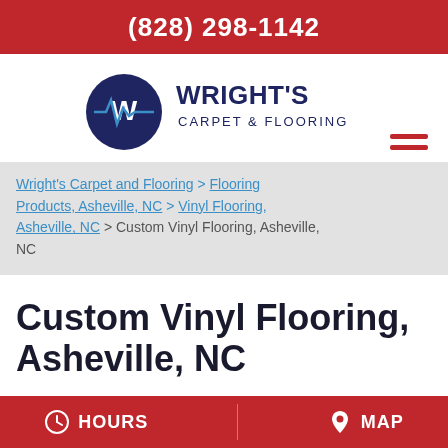(828) 298-1142
[Figure (logo): Wright's Carpet & Flooring logo with dark navy circle containing a W with pulse/heartbeat line through it, and company name text to the right]
Wright's Carpet and Flooring > Flooring Products, Asheville, NC > Vinyl Flooring, Asheville, NC > Custom Vinyl Flooring, Asheville, NC
Custom Vinyl Flooring, Asheville, NC
HOURS   MAP